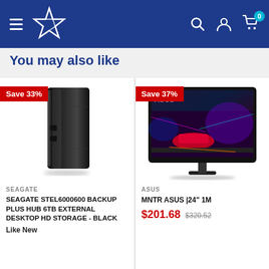[Figure (screenshot): E-commerce website header/navigation bar with hamburger menu, star logo, search icon, account icon, and shopping cart with badge showing 0]
You may also like
[Figure (photo): Seagate external desktop hard drive - black rectangular device]
SEAGATE
SEAGATE STEL6000600 BACKUP PLUS HUB 6TB EXTERNAL DESKTOP HD STORAGE - BLACK
Like New
[Figure (photo): ASUS gaming monitor showing colorful racing game on screen]
ASUS
MNTR ASUS |24" 1M
$201.68
$320.52